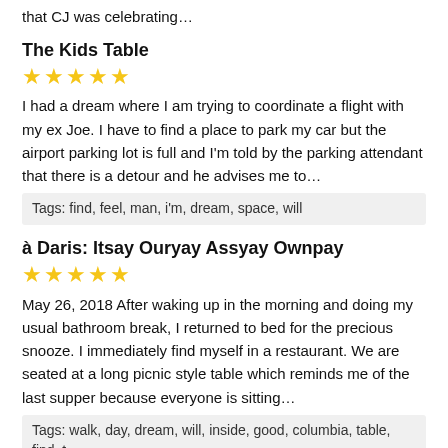that CJ was celebrating…
The Kids Table
★★★★★
I had a dream where I am trying to coordinate a flight with my ex Joe. I have to find a place to park my car but the airport parking lot is full and I'm told by the parking attendant that there is a detour and he advises me to…
Tags: find, feel, man, i'm, dream, space, will
à Daris: Itsay Ouryay Assyay Ownpay
★★★★★
May 26, 2018 After waking up in the morning and doing my usual bathroom break, I returned to bed for the precious snooze. I immediately find myself in a restaurant. We are seated at a long picnic style table which reminds me of the last supper because everyone is sitting…
Tags: walk, day, dream, will, inside, good, columbia, table, find, t…